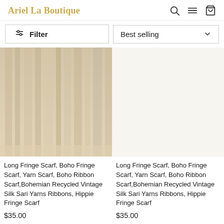Ariel La Boutique
Filter
Best selling
[Figure (photo): Product photo showing hanging fabric scarves in warm tan/beige tones]
Long Fringe Scarf, Boho Fringe Scarf, Yarn Scarf, Boho Ribbon Scarf,Bohemian Recycled Vintage Silk Sari Yarns Ribbons, Hippie Fringe Scarf
$35.00
[Figure (photo): Empty white product image placeholder for second product]
Long Fringe Scarf, Boho Fringe Scarf, Yarn Scarf, Boho Ribbon Scarf,Bohemian Recycled Vintage Silk Sari Yarns Ribbons, Hippie Fringe Scarf
$35.00